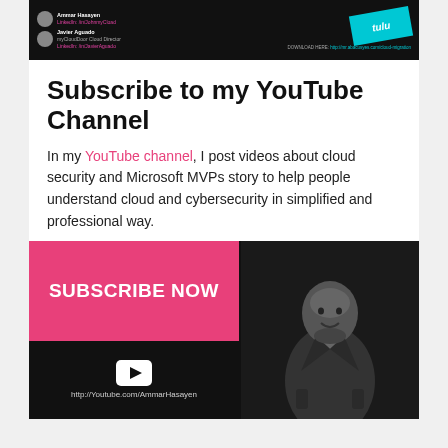[Figure (photo): Dark banner with two people profiles (avatars, names, roles, LinkedIn links) on the left and a teal/cyan business card graphic with download link on the right]
Subscribe to my YouTube Channel
In my YouTube channel, I post videos about cloud security and Microsoft MVPs story to help people understand cloud and cybersecurity in simplified and professional way.
[Figure (photo): Subscribe banner with pink 'SUBSCRIBE NOW' button on the left side, YouTube play button and URL http://Youtube.com/AmmarHasayen at bottom, and a black-and-white photo of a man in a blazer on the right side]